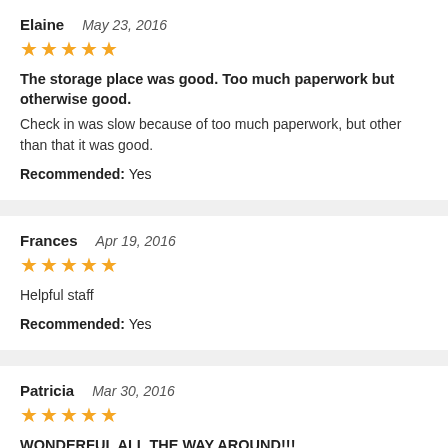Elaine   May 23, 2016
★★★★★
The storage place was good. Too much paperwork but otherwise good.
Check in was slow because of too much paperwork, but other than that it was good.
Recommended: Yes
Frances   Apr 19, 2016
★★★★★
Helpful staff
Recommended: Yes
Patricia   Mar 30, 2016
★★★★★
WONDERFUL ALL THE WAY AROUND!!!
Friendly staff. Clean storage. No problems will...